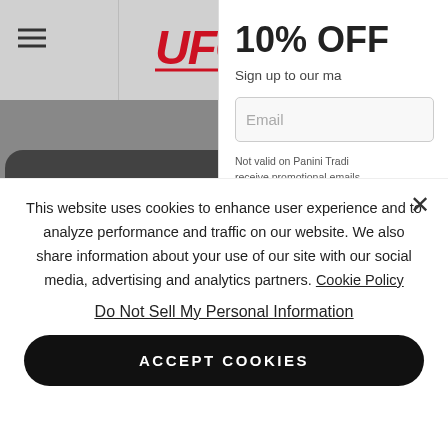[Figure (screenshot): UFC Store website header with hamburger menu and UFC Store logo on grey navigation bar]
[Figure (screenshot): Email signup popup partially visible: '10% OFF' heading, 'Sign up to our ma...' text, Email input field, fine print about Panini Trading and promotional emails]
[Figure (screenshot): Hero banner background with text 'WE THINK YOU ARE IN THE UNIT... AN ICONIC AND THE... UPDATE YOUR LOCATION... BRAND']
This website uses cookies to enhance user experience and to analyze performance and traffic on our website. We also share information about your use of our site with our social media, advertising and analytics partners. Cookie Policy
Do Not Sell My Personal Information
ACCEPT COOKIES